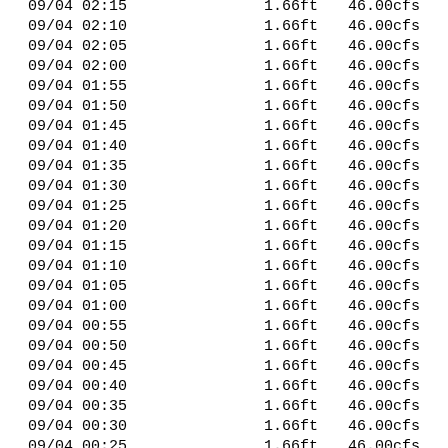| DateTime | Stage | Flow |
| --- | --- | --- |
| 09/04 02:15 | 1.66ft | 46.00cfs |
| 09/04 02:10 | 1.66ft | 46.00cfs |
| 09/04 02:05 | 1.66ft | 46.00cfs |
| 09/04 02:00 | 1.66ft | 46.00cfs |
| 09/04 01:55 | 1.66ft | 46.00cfs |
| 09/04 01:50 | 1.66ft | 46.00cfs |
| 09/04 01:45 | 1.66ft | 46.00cfs |
| 09/04 01:40 | 1.66ft | 46.00cfs |
| 09/04 01:35 | 1.66ft | 46.00cfs |
| 09/04 01:30 | 1.66ft | 46.00cfs |
| 09/04 01:25 | 1.66ft | 46.00cfs |
| 09/04 01:20 | 1.66ft | 46.00cfs |
| 09/04 01:15 | 1.66ft | 46.00cfs |
| 09/04 01:10 | 1.66ft | 46.00cfs |
| 09/04 01:05 | 1.66ft | 46.00cfs |
| 09/04 01:00 | 1.66ft | 46.00cfs |
| 09/04 00:55 | 1.66ft | 46.00cfs |
| 09/04 00:50 | 1.66ft | 46.00cfs |
| 09/04 00:45 | 1.66ft | 46.00cfs |
| 09/04 00:40 | 1.66ft | 46.00cfs |
| 09/04 00:35 | 1.66ft | 46.00cfs |
| 09/04 00:30 | 1.66ft | 46.00cfs |
| 09/04 00:25 | 1.66ft | 46.00cfs |
| 09/04 00:20 | 1.66ft | 46.00cfs |